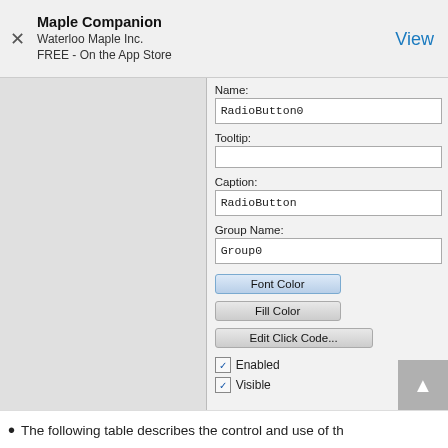Maple Companion
Waterloo Maple Inc.
FREE - On the App Store
[Figure (screenshot): A UI properties panel for a RadioButton control showing fields: Name (RadioButton0), Tooltip (empty), Caption (RadioButton), Group Name (Group0), buttons for Font Color, Fill Color, Edit Click Code..., and checkboxes for Enabled and Visible (both checked). A scroll-up button is visible at bottom right.]
The following table describes the control and use of th